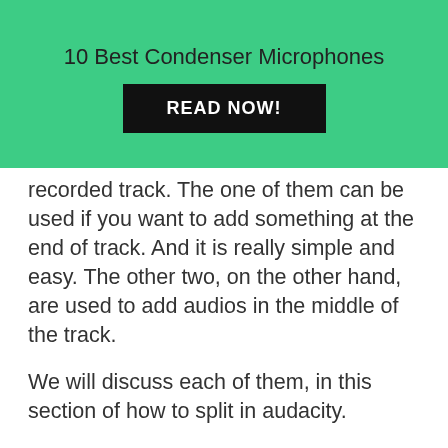10 Best Condenser Microphones
READ NOW!
recorded track. The one of them can be used if you want to add something at the end of track. And it is really simple and easy. The other two, on the other hand, are used to add audios in the middle of the track.
We will discuss each of them, in this section of how to split in audacity.
Method 1- Used to Add Audio In The End
This method is used when one forgets to add